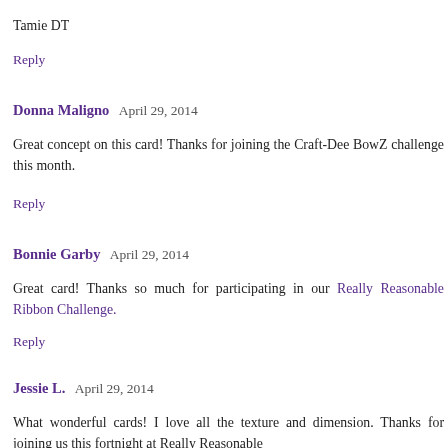Tamie DT
Reply
Donna Maligno  April 29, 2014
Great concept on this card! Thanks for joining the Craft-Dee BowZ challenge this month.
Reply
Bonnie Garby  April 29, 2014
Great card! Thanks so much for participating in our Really Reasonable Ribbon Challenge.
Reply
Jessie L.  April 29, 2014
What wonderful cards! I love all the texture and dimension. Thanks for joining us this fortnight at Really Reasonable